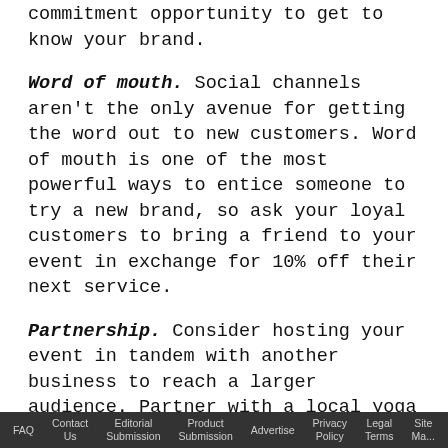commitment opportunity to get to know your brand.
Word of mouth. Social channels aren't the only avenue for getting the word out to new customers. Word of mouth is one of the most powerful ways to entice someone to try a new brand, so ask your loyal customers to bring a friend to your event in exchange for 10% off their next service.
Partnership. Consider hosting your event in tandem with another business to reach a larger audience. Partner with a local yoga studio to host the ultimate relaxation event. Is there a nearby florist who would help you host a class on creating flower
FAQ   Contact Us   Editorial Submission   Product Submission   Advertise   Privacy Policy   Legal Terms   Site Ma...